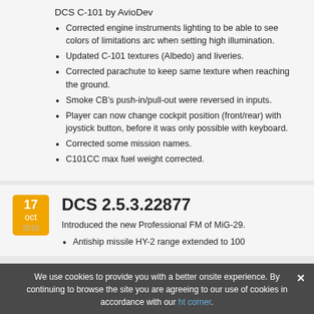DCS C-101 by AvioDev
Corrected engine instruments lighting to be able to see colors of limitations arc when setting high illumination.
Updated C-101 textures (Albedo) and liveries.
Corrected parachute to keep same texture when reaching the ground.
Smoke CB’s push-in/pull-out were reversed in inputs.
Player can now change cockpit position (front/rear) with joystick button, before it was only possible with keyboard.
Corrected some mission names.
C101CC max fuel weight corrected.
DCS 2.5.3.22877
Introduced the new Professional FM of MiG-29.
Antiship missile HY-2 range extended to 100
We use cookies to provide you with a better onsite experience. By continuing to browse the site you are agreeing to our use of cookies in accordance with our cookie policy.